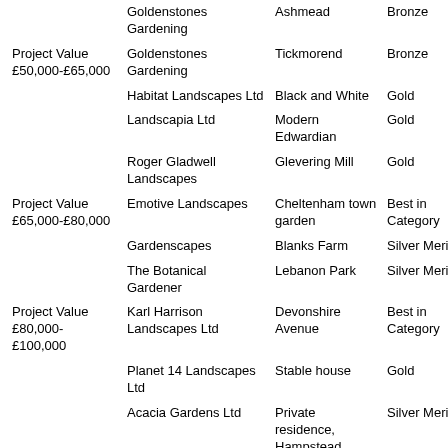| Project Value | Company | Project Name | Award |
| --- | --- | --- | --- |
|  | Goldenstones Gardening | Ashmead | Bronze |
| Project Value £50,000-£65,000 | Goldenstones Gardening | Tickmorend | Bronze |
|  | Habitat Landscapes Ltd | Black and White | Gold |
|  | Landscapia Ltd | Modern Edwardian | Gold |
|  | Roger Gladwell Landscapes | Glevering Mill | Gold |
| Project Value £65,000-£80,000 | Emotive Landscapes | Cheltenham town garden | Best in Category |
|  | Gardenscapes | Blanks Farm | Silver Merit |
|  | The Botanical Gardener | Lebanon Park | Silver Merit |
| Project Value £80,000-£100,000 | Karl Harrison Landscapes Ltd | Devonshire Avenue | Best in Category |
|  | Planet 14 Landscapes Ltd | Stable house | Gold |
|  | Acacia Gardens Ltd | Private residence, Hampstead | Silver Merit |